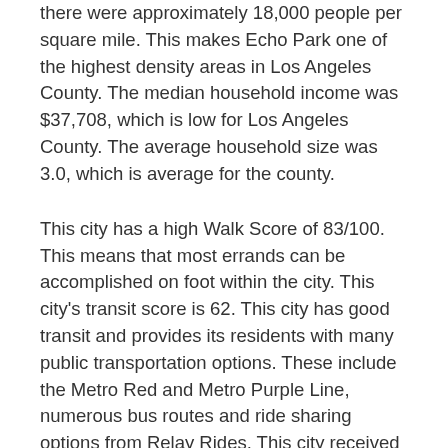there were approximately 18,000 people per square mile. This makes Echo Park one of the highest density areas in Los Angeles County. The median household income was $37,708, which is low for Los Angeles County. The average household size was 3.0, which is average for the county.
This city has a high Walk Score of 83/100. This means that most errands can be accomplished on foot within the city. This city's transit score is 62. This city has good transit and provides its residents with many public transportation options. These include the Metro Red and Metro Purple Line, numerous bus routes and ride sharing options from Relay Rides. This city received a bike score of 49 because of the steep hills and minimal bike lanes.
According to Zillow, the average home value in Echo Park is $795,100. This value has increased 14.4% since last year and Zillow estimates it will continue to rise 4.3% to $829,000 over the next year. The average price of homes that are currently listed is $742,450. The